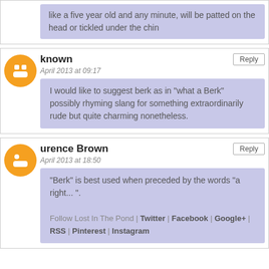like a five year old and any minute, will be patted on the head or tickled under the chin
known
April 2013 at 09:17
I would like to suggest berk as in "what a Berk" possibly rhyming slang for something extraordinarily rude but quite charming nonetheless.
urence Brown
April 2013 at 18:50
"Berk" is best used when preceded by the words "a right... ". Follow Lost In The Pond | Twitter | Facebook | Google+ | RSS | Pinterest | Instagram